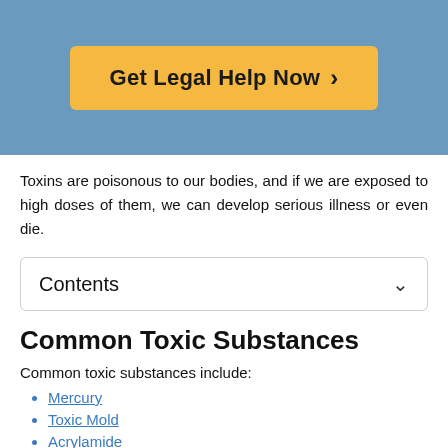[Figure (other): Blue banner background with orange call-to-action button reading 'Get Legal Help Now >']
Toxins are poisonous to our bodies, and if we are exposed to high doses of them, we can develop serious illness or even die.
Contents
Common Toxic Substances
Common toxic substances include:
Mercury
Toxic Mold
Acrylamide
Carbon Monoxide